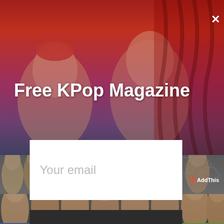[Figure (screenshot): A popup modal over a KPop themed webpage with a photo collage background showing KPop artists. The popup contains a title 'Free KPop Magazine', an email input field, and a 'Get now!' button. At the bottom are social sharing buttons for Facebook, Twitter, Pinterest, email, and share.]
Free KPop Magazine
Your email
Get now!
AddThis